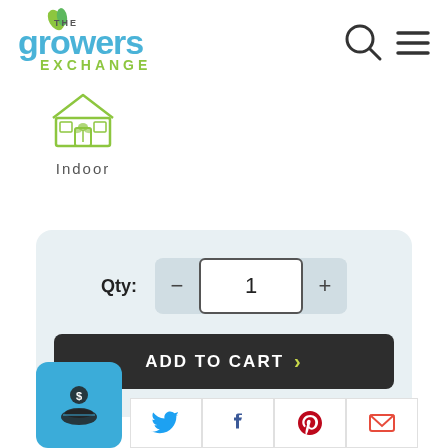[Figure (logo): The Growers Exchange logo with green leaf and blue/green text]
[Figure (illustration): Search icon (magnifying glass) and hamburger menu icon in header]
[Figure (illustration): Indoor greenhouse icon - line art of a greenhouse with plants inside]
Indoor
[Figure (screenshot): Quantity selector showing Qty: with minus button, input field showing 1, and plus button]
[Figure (illustration): ADD TO CART button with chevron arrow in dark background]
[Figure (illustration): Blue square button with hand holding money/coin icon]
[Figure (illustration): Social share buttons: Twitter bird (blue), Facebook f (dark blue), Pinterest P (red), Email envelope (red/orange)]